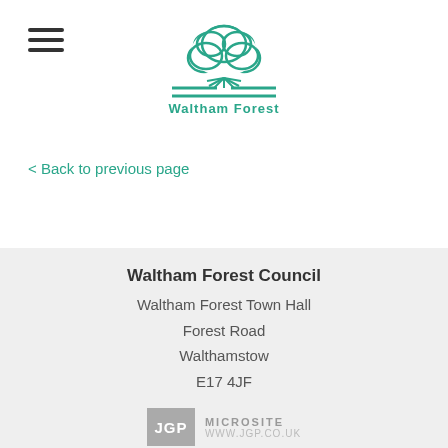[Figure (logo): Waltham Forest Council logo — green tree icon above two horizontal green lines with 'Waltham Forest' text in teal below]
< Back to previous page
Waltham Forest Council
Waltham Forest Town Hall
Forest Road
Walthamstow
E17 4JF
[Figure (logo): JGP Microsite logo — grey square with 'JGP' in white, beside grey text 'MICROSITE' and 'WWW.JGP.CO.UK']